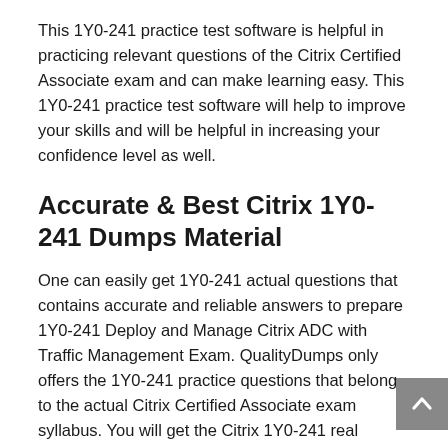This 1Y0-241 practice test software is helpful in practicing relevant questions of the Citrix Certified Associate exam and can make learning easy. This 1Y0-241 practice test software will help to improve your skills and will be helpful in increasing your confidence level as well.
Accurate & Best Citrix 1Y0-241 Dumps Material
One can easily get 1Y0-241 actual questions that contains accurate and reliable answers to prepare 1Y0-241 Deploy and Manage Citrix ADC with Traffic Management Exam. QualityDumps only offers the 1Y0-241 practice questions that belong to the actual Citrix Certified Associate exam syllabus. You will get the Citrix 1Y0-241 real questions and answers from all the topics of the 1Y0-241 Deploy and Manage Citrix ADC